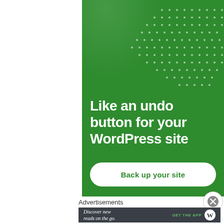[Figure (illustration): Green advertisement banner for WordPress backup service. Top portion shows a green background with decorative white dots pattern in upper right. Large white bold text reads 'Like an undo button for your WordPress site'. A white rounded rectangle button with green text reads 'Back up your site'.]
Advertisements
[Figure (illustration): Dark gray advertisement banner. Left side has white italic text 'Discover new reads on the go.' Center has green text 'GET THE APP'. Right side shows the WordPress 'W' logo in a circle.]